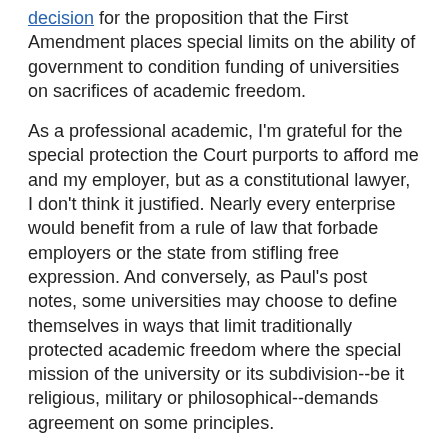decision for the proposition that the First Amendment places special limits on the ability of government to condition funding of universities on sacrifices of academic freedom.
As a professional academic, I'm grateful for the special protection the Court purports to afford me and my employer, but as a constitutional lawyer, I don't think it justified. Nearly every enterprise would benefit from a rule of law that forbade employers or the state from stifling free expression. And conversely, as Paul's post notes, some universities may choose to define themselves in ways that limit traditionally protected academic freedom where the special mission of the university or its subdivision--be it religious, military or philosophical--demands agreement on some principles.
Does this mean that the state can, for example, insist that biology professors only teach and write from the perspective of "intelligent design?" No. But the reason is not that university faculty have a special First Amendment right. The reason must be that the First Amendment limits certain coercive uses of the funding power. Universities can, and in my view should, provide their faculty and students with a